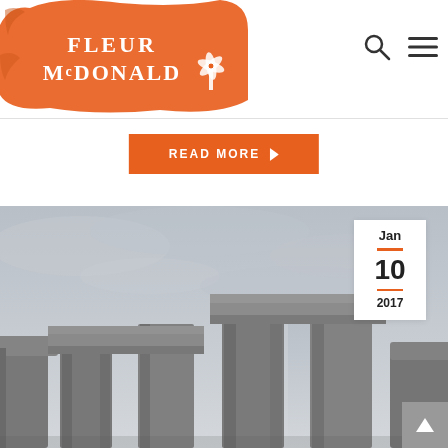[Figure (logo): Fleur McDonald logo with orange brushstroke background and white windmill icon]
[Figure (other): Search icon (circle with handle) and hamburger menu icon in top right of header]
READ MORE ▶
[Figure (photo): Photograph of Stonehenge-like stone monoliths against a grey overcast sky, viewed from ground level]
Jan
10
2017